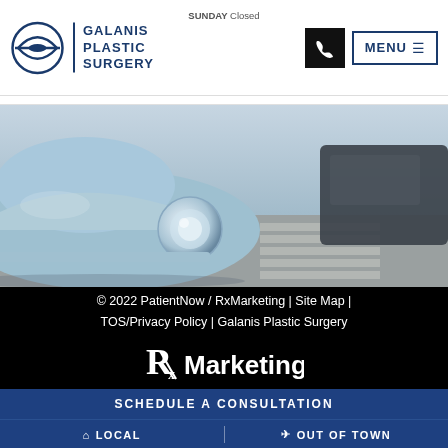GALANIS PLASTIC SURGERY | SUNDAY Closed | MENU
[Figure (screenshot): Close-up photograph of the front of a light blue Volkswagen Beetle car on a street crossing, with other vehicles in the background]
© 2022 PatientNow / RxMarketing | Site Map | TOS/Privacy Policy | Galanis Plastic Surgery
[Figure (logo): RxMarketing logo with stylized Rx prescription symbol and bold Marketing text]
SCHEDULE A CONSULTATION
LOCAL | OUT OF TOWN